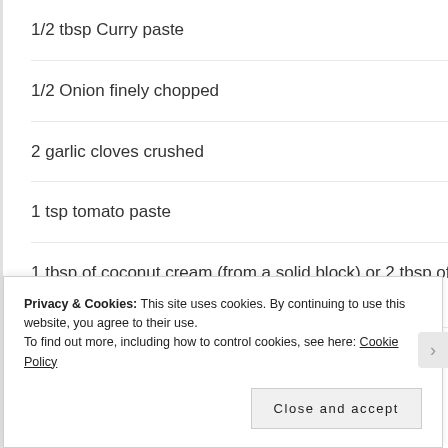1/2 tbsp Curry paste
1/2 Onion finely chopped
2 garlic cloves crushed
1 tsp tomato paste
1 tbsp of coconut cream (from a solid block) or 2 tbsp of coconut milk
Privacy & Cookies: This site uses cookies. By continuing to use this website, you agree to their use.
To find out more, including how to control cookies, see here: Cookie Policy